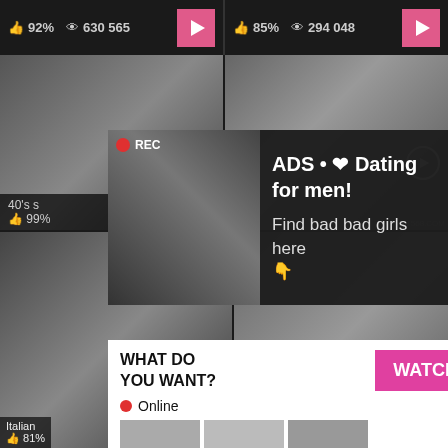92% 630 565
85% 294 048
[Figure (screenshot): Video thumbnail grid showing adult content website with overlaid ads. Top ad overlay: REC badge, dating ad 'ADS • ❤ Dating for men! Find bad girls here 👇'. Bottom ad overlay: 'WHAT DO YOU WANT? WATCH • Online Cumming, ass fucking, squirt or... • ADS']
40's s
99%
Italian
81%
ADS • ❤ Dating for men!
Find bad girls here
👇
WHAT DO YOU WANT? WATCH
• Online
Cumming, ass fucking, squirt or...
• ADS